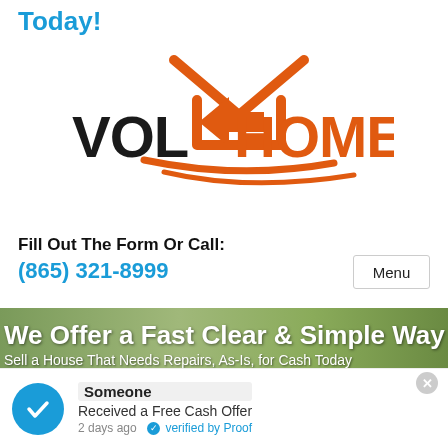Today!
[Figure (logo): Vol Homes logo with orange house icon above text VOL HOMES in black and orange, with orange swoosh underline]
Fill Out The Form Or Call:
(865) 321-8999
[Figure (screenshot): Banner image with green bokeh background. Text: We Offer a Fast Clear & Simple Way / Sell a House That Needs Repairs, As-Is, for Cash Today / All for FREE!]
Someone
Received a Free Cash Offer
2 days ago  verified by Proof